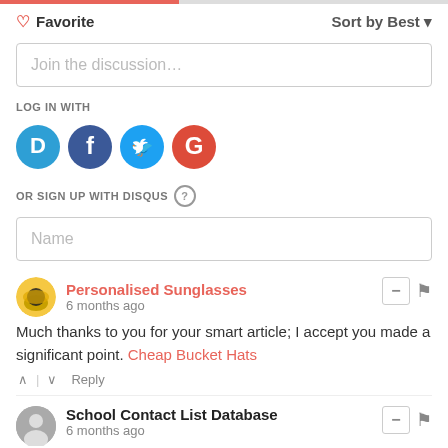Favorite | Sort by Best
Join the discussion...
LOG IN WITH
[Figure (infographic): Four social login buttons: Disqus (blue circle with D), Facebook (dark blue circle with f), Twitter (light blue circle with bird), Google (red circle with G)]
OR SIGN UP WITH DISQUS ?
Name
Personalised Sunglasses
6 months ago
Much thanks to you for your smart article; I accept you made a significant point. Cheap Bucket Hats
School Contact List Database
6 months ago